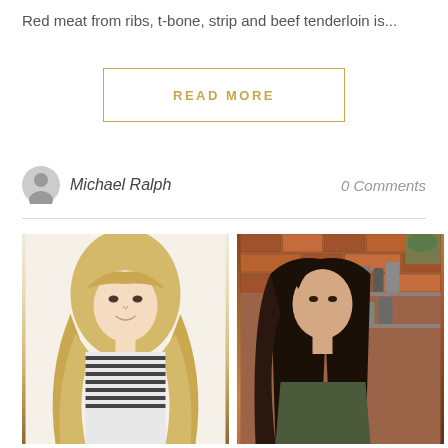Red meat from ribs, t-bone, strip and beef tenderloin is...
READ MORE
Michael Ralph
0 Comments
[Figure (photo): Two side-by-side photos: left shows a blonde woman with long wavy hair wearing a striped top; right shows a dark-haired woman with straight long hair in a salon setting with brick wall and hair products in background]